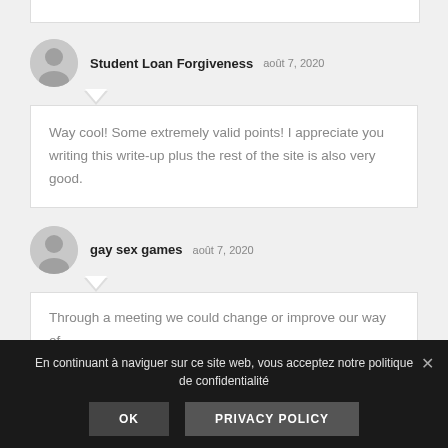(partial comment text cut off at top)
Student Loan Forgiveness   août 7, 2020
Way cool! Some extremely valid points! I appreciate you writing this write-up plus the rest of the site is also very good.
gay sex games   août 7, 2020
Through a meeting we could change or improve our way of
En continuant à naviguer sur ce site web, vous acceptez notre politique de confidentialité
OK   PRIVACY POLICY